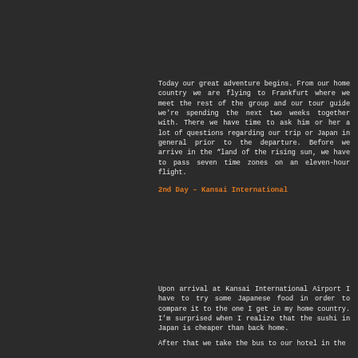Today our great adventure begins. From our home country we are flying to Frankfurt where we meet the rest of the group and our tour guide we're spending the next two weeks together with. There we have time to ask him or her a lot of questions regarding our trip or Japan in general prior to the departure. Before we arrive in the "land of the rising sun, we have to pass seven time zones on an eleven-hour flight.
2nd Day – Kansai International
Upon arrival at Kansai International Airport I have to try some Japanese food in order to compare it to the one I get in my home country. I'm surprised when I realize that the sushi in Japan is cheaper than back home.
After that we take the bus to our hotel in the